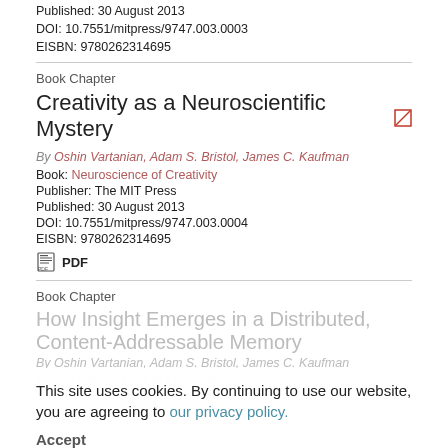Published: 30 August 2013
DOI: 10.7551/mitpress/9747.003.0003
EISBN: 9780262314695
Book Chapter
Creativity as a Neuroscientific Mystery
By Oshin Vartanian, Adam S. Bristol, James C. Kaufman
Book: Neuroscience of Creativity
Publisher: The MIT Press
Published: 30 August 2013
DOI: 10.7551/mitpress/9747.003.0004
EISBN: 9780262314695
PDF
Book Chapter
How Insight Emerges in a Distributed, Content-Addressable Memory
By Oshin Vartanian, Adam S. Bristol, James C. Kaufman
Book: Neuroscience of Creativity
This site uses cookies. By continuing to use our website, you are agreeing to our privacy policy.
Accept